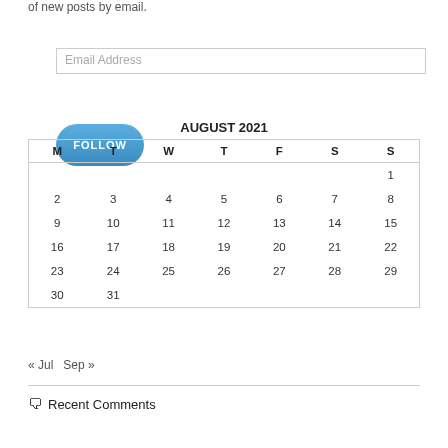of new posts by email.
[Figure (other): Email Address input field]
[Figure (other): FOLLOW button, blue rounded rectangle]
AUGUST 2021
| M | T | W | T | F | S | S |
| --- | --- | --- | --- | --- | --- | --- |
|  |  |  |  |  |  | 1 |
| 2 | 3 | 4 | 5 | 6 | 7 | 8 |
| 9 | 10 | 11 | 12 | 13 | 14 | 15 |
| 16 | 17 | 18 | 19 | 20 | 21 | 22 |
| 23 | 24 | 25 | 26 | 27 | 28 | 29 |
| 30 | 31 |  |  |  |  |  |
« Jul  Sep »
Recent Comments